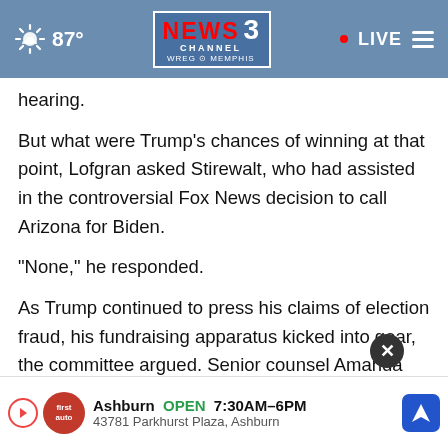87° NEWS CHANNEL 3 WREG MEMPHIS • LIVE
hearing.
But what were Trump’s chances of winning at that point, Lofgran asked Stirewalt, who had assisted in the controversial Fox News decision to call Arizona for Biden.
“None,” he responded.
As Trump continued to press his claims of election fraud, his fundraising apparatus kicked into gear, the committee argued. Senior counsel Amanda Wick found th... ...illion emails... ...he
[Figure (screenshot): Ad banner: Ashburn OPEN 7:30AM-6PM, 43781 Parkhurst Plaza, Ashburn with First Auto logo and navigation icon]